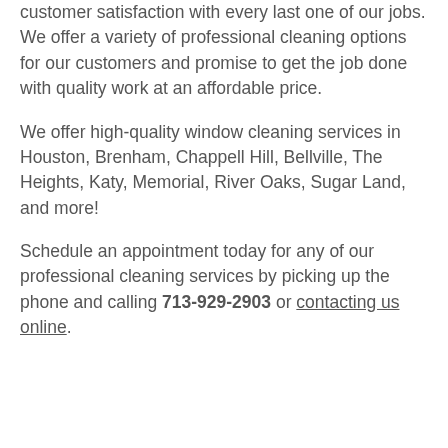customer satisfaction with every last one of our jobs. We offer a variety of professional cleaning options for our customers and promise to get the job done with quality work at an affordable price.
We offer high-quality window cleaning services in Houston, Brenham, Chappell Hill, Bellville, The Heights, Katy, Memorial, River Oaks, Sugar Land, and more!
Schedule an appointment today for any of our professional cleaning services by picking up the phone and calling 713-929-2903 or contacting us online.